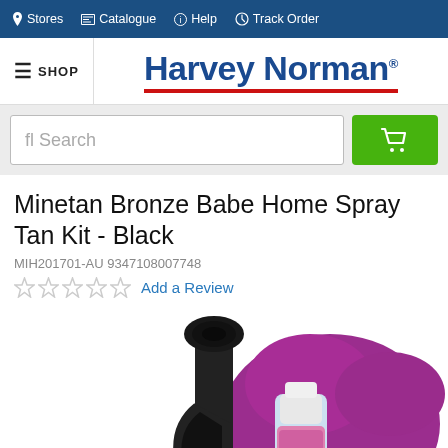Stores  Catalogue  Help  Track Order
[Figure (logo): Harvey Norman logo with red underline and registered trademark symbol]
≡ SHOP
fl Search (search input field)
Minetan Bronze Babe Home Spray Tan Kit - Black
MIH201701-AU 9347108007748
Add a Review
[Figure (photo): Minetan Bronze Babe Home Spray Tan Kit showing black spray gun device, a bottle of tanning solution, and a purple/magenta applicator mitt]